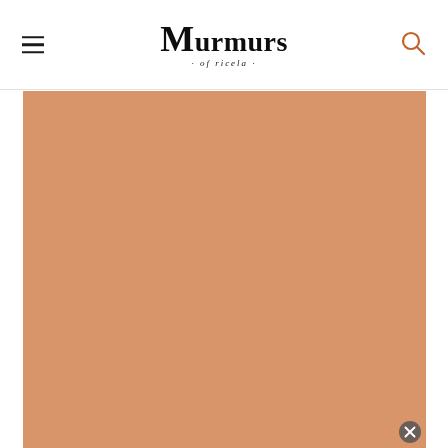Murmurs of ricela
[Figure (photo): Large square image with a solid warm terracotta/sandy orange background color, serving as a placeholder or image loading area]